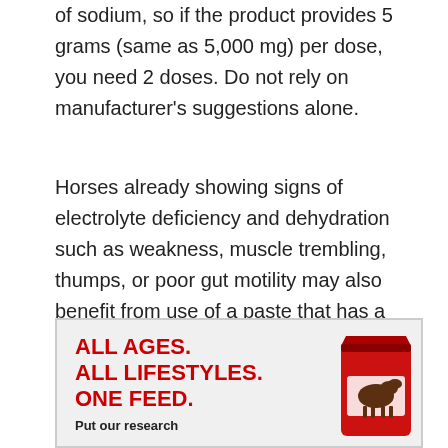of sodium, so if the product provides 5 grams (same as 5,000 mg) per dose, you need 2 doses. Do not rely on manufacturer's suggestions alone.
Horses already showing signs of electrolyte deficiency and dehydration such as weakness, muscle trembling, thumps, or poor gut motility may also benefit from use of a paste that has a higher amount of potassium as well as additional magnesium and calcium.
[Figure (illustration): Advertisement box with light gray background. Bold red text reads 'ALL AGES. ALL LIFESTYLES. ONE FEED.' Below in black bold text: 'Put our research'. On the right side, a red feed bag with horse image is partially visible.]